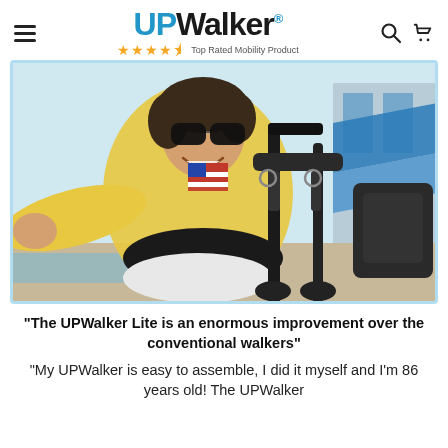UPWalker® ★★★★☆ Top Rated Mobility Product
[Figure (photo): Elderly woman wearing sunglasses and yellow shirt, smiling and leaning over a UPWalker Lite mobility walker outdoors near a pool area.]
"The UPWalker Lite is an enormous improvement over the conventional walkers"
"My UPWalker is easy to assemble, I did it myself and I'm 86 years old! The UPWalker